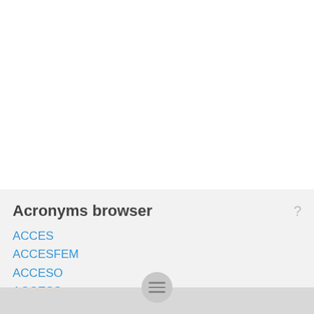Acronyms browser
ACCES
ACCESFEM
ACCESO
ACCESS